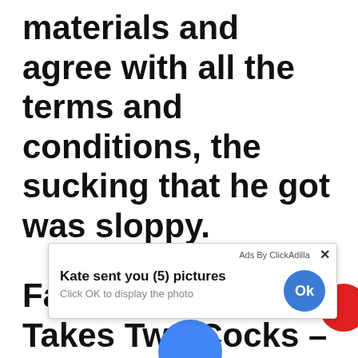materials and agree with all the terms and conditions, the sucking that he got was sloppy.
Fat Ghetto Slut Takes Two Cocks - Redtube You wont want to miss this show this brunette cock gobbler was
[Figure (screenshot): Ad overlay popup from ClickAdilla: 'Kate sent you (5) pictures / Click OK to display the photo' with an Ok button, a red circle partially visible on the right, and a blue circle at the bottom. An X close button is in the top right.]